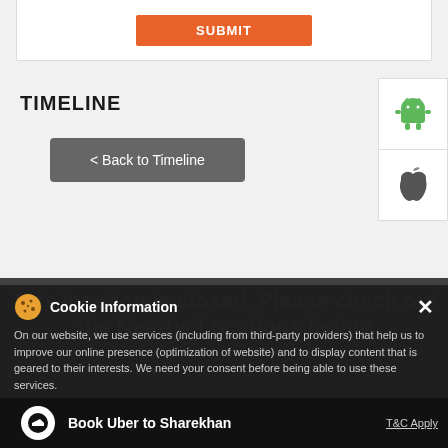[Figure (screenshot): SUBMIT button with orange background at top of card]
TIMELINE
[Figure (screenshot): < Back to Timeline button in dark gray]
[Figure (screenshot): Android and Apple app store icons panel on right]
This location is closed. Please check out the Nearby Locations below
Cookie Information
On our website, we use services (including from third-party providers) that help us to improve our online presence (optimization of website) and to display content that is geared to their interests. We need your consent before being able to use these services.
Book Uber to Sharekhan
T&C Apply